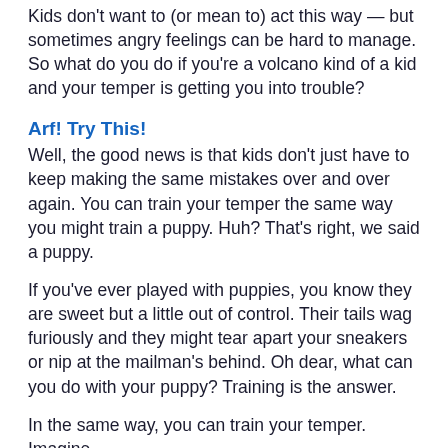Kids don't want to (or mean to) act this way — but sometimes angry feelings can be hard to manage. So what do you do if you're a volcano kind of a kid and your temper is getting you into trouble?
Arf! Try This!
Well, the good news is that kids don't just have to keep making the same mistakes over and over again. You can train your temper the same way you might train a puppy. Huh? That's right, we said a puppy.
If you've ever played with puppies, you know they are sweet but a little out of control. Their tails wag furiously and they might tear apart your sneakers or nip at the mailman's behind. Oh dear, what can you do with your puppy? Training is the answer.
In the same way, you can train your temper. Imagine